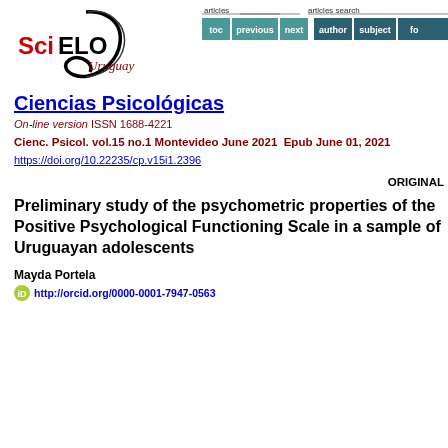[Figure (logo): SciELO Uruguay logo with black curved swoosh and red/black text]
[Figure (screenshot): Navigation bar with articles and articles search sections containing toc, previous, next, author, subject, fo buttons in teal/dark teal colors]
Ciencias Psicológicas
On-line version ISSN 1688-4221
Cienc. Psicol. vol.15 no.1 Montevideo June 2021  Epub June 01, 2021
https://doi.org/10.22235/cp.v15i1.2396
ORIGINAL
Preliminary study of the psychometric properties of the Positive Psychological Functioning Scale in a sample of Uruguayan adolescents
Mayda Portela
http://orcid.org/0000-0001-7947-0563